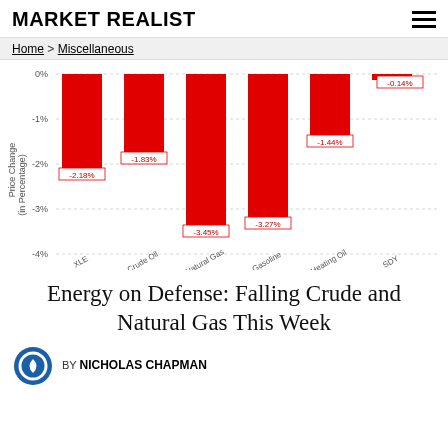MARKET REALIST
Home > Miscellaneous
[Figure (bar-chart): Price Change (in Percentage)]
Energy on Defense: Falling Crude and Natural Gas This Week
BY NICHOLAS CHAPMAN